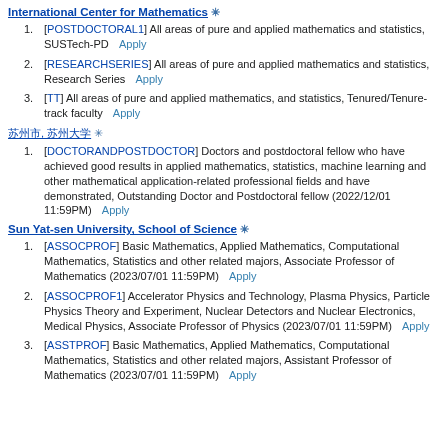International Center for Mathematics ✳
[POSTDOCTORAL1] All areas of pure and applied mathematics and statistics, SUSTech-PD  Apply
[RESEARCHSERIES] All areas of pure and applied mathematics and statistics, Research Series  Apply
[TT] All areas of pure and applied mathematics, and statistics, Tenured/Tenure-track faculty  Apply
苏州市, 苏州大学 ✳
[DOCTORANDPOSTDOCTOR] Doctors and postdoctoral fellow who have achieved good results in applied mathematics, statistics, machine learning and other mathematical application-related professional fields and have demonstrated, Outstanding Doctor and Postdoctoral fellow (2022/12/01 11:59PM)  Apply
Sun Yat-sen University, School of Science ✳
[ASSOCPROF] Basic Mathematics, Applied Mathematics, Computational Mathematics, Statistics and other related majors, Associate Professor of Mathematics (2023/07/01 11:59PM)  Apply
[ASSOCPROF1] Accelerator Physics and Technology, Plasma Physics, Particle Physics Theory and Experiment, Nuclear Detectors and Nuclear Electronics, Medical Physics, Associate Professor of Physics (2023/07/01 11:59PM)  Apply
[ASSTPROF] Basic Mathematics, Applied Mathematics, Computational Mathematics, Statistics and other related majors, Assistant Professor of Mathematics (2023/07/01 11:59PM)  Apply